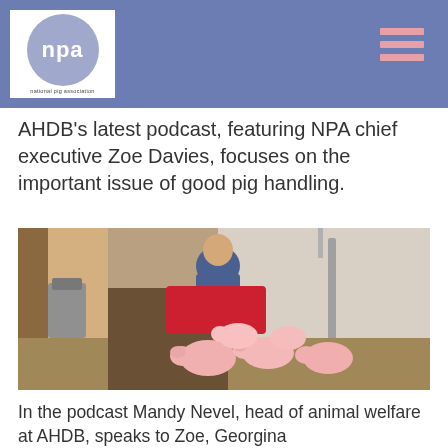NPA - National Pig Association
AHDB's latest podcast, featuring NPA chief executive Zoe Davies, focuses on the important issue of good pig handling.
[Figure (photo): A person herding pink pigs through a narrow corridor in a farm building, using a red board/barrier to guide the animals.]
In the podcast Mandy Nevel, head of animal welfare at AHDB, speaks to Zoe, Georgina